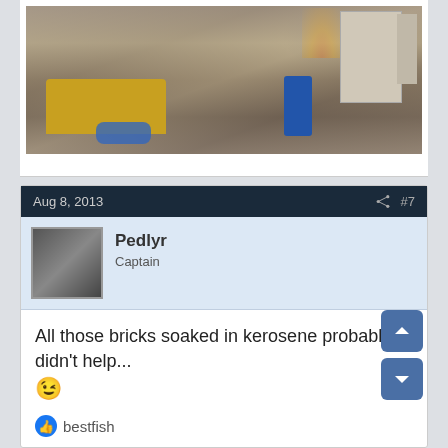[Figure (photo): Outdoor scene showing a yellow bulldozer/front loader in a yard area with debris and blue tarps, a person in blue clothing visible in the background, and a fire with smoke visible in the upper right area. Various construction materials and wood scattered around.]
Aug 8, 2013
#7
Pedlyr
Captain
All those bricks soaked in kerosene probably didn't help... 😉
bestfish